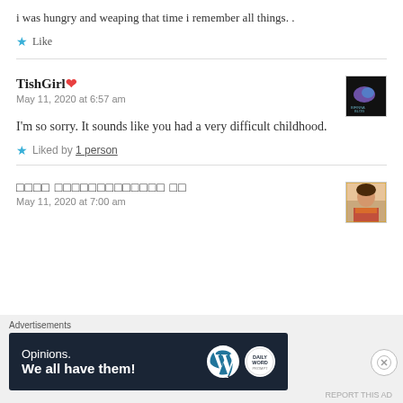i was hungry and weaping that time i remember all things. .
★ Like
TishGirl❤
May 11, 2020 at 6:57 am
I'm so sorry. It sounds like you had a very difficult childhood.
★ Liked by 1 person
□□□□ □□□□□□□□□□□□□ □□
May 11, 2020 at 7:00 am
Advertisements
[Figure (screenshot): WordPress 'Opinions. We all have them!' advertisement banner with WordPress and DailyMail logos]